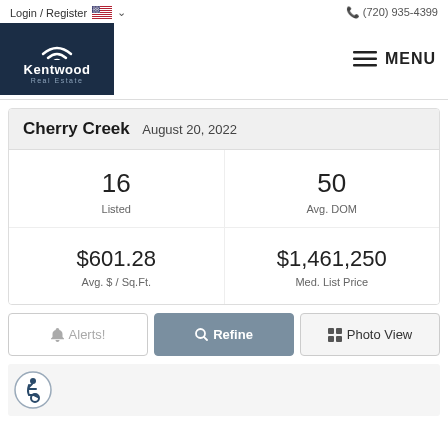Login / Register  (720) 935-4399
[Figure (logo): Kentwood Real Estate logo — dark navy blue square with wifi-style signal icon and text 'Kentwood Real Estate']
MENU
| Metric | Value |
| --- | --- |
| Listed | 16 |
| Avg. DOM | 50 |
| Avg. $ / Sq.Ft. | $601.28 |
| Med. List Price | $1,461,250 |
Alerts!
Refine
Photo View